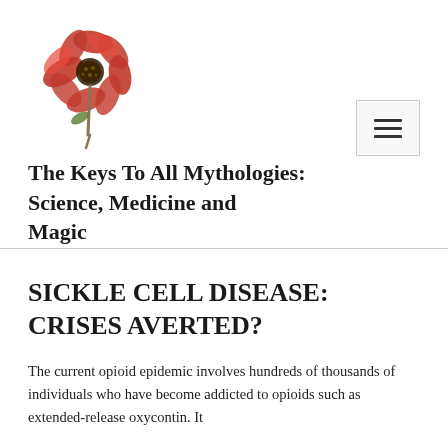[Figure (illustration): Red poppy flower logo with stem, used as site branding image]
The Keys To All Mythologies: Science, Medicine and Magic
SICKLE CELL DISEASE: CRISES AVERTED?
The current opioid epidemic involves hundreds of thousands of individuals who have become addicted to opioids such as extended-release oxycontin. It